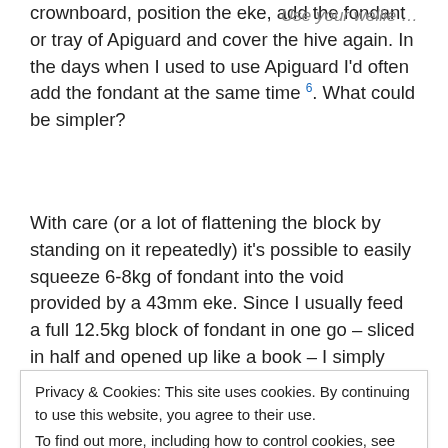crownboard, position the eke, add the fondant or tray of Apiguard and cover the hive again. In the days when I used to use Apiguard I'd often add the fondant at the same time 6. What could be simpler?
Use your wellie …
With care (or a lot of flattening the block by standing on it repeatedly) it's possible to easily squeeze 6-8kg of fondant into the void provided by a 43mm eke. Since I usually feed a full 12.5kg block of fondant in one go – sliced in half and opened up like a book – I simply pop an eke under an inverted insulated crownboard to provide the 'headroom' needed.
Privacy & Cookies: This site uses cookies. By continuing to use this website, you agree to their use.
To find out more, including how to control cookies, see here: Cookie Policy
Close and accept
treatments to colonies in